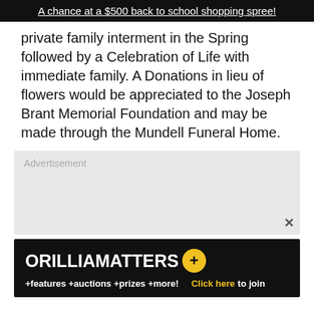A chance at a $500 back to school shopping spree!
private family interment in the Spring followed by a Celebration of Life with immediate family. A Donations in lieu of flowers would be appreciated to the Joseph Brant Memorial Foundation and may be made through the Mundell Funeral Home.
[Figure (other): Advertisement placeholder box with 'Advertisement' label and close button]
[Figure (other): OrilliaMatters+ advertisement banner. Text: ORILLIAMATTERS+ with yellow plus circle. +features +auctions +prizes +more! Click here to join]